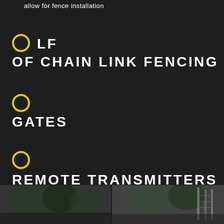allow for fence installation
LF
OF CHAIN LINK FENCING
GATES
REMOTE TRANSMITTERS
[Figure (photo): Outdoor photo showing trees and fencing area, left side]
[Figure (photo): Outdoor photo showing chain link fencing installation, right side]